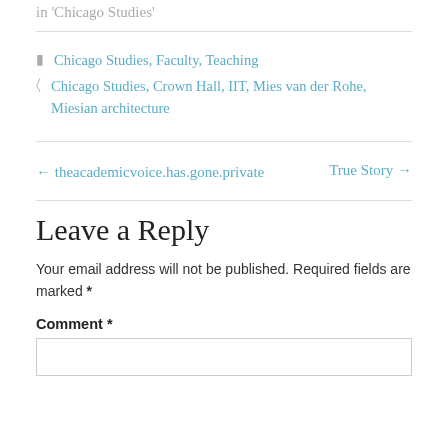in  'Chicago Studies'
Categories: Chicago Studies, Faculty, Teaching
Tags: Chicago Studies, Crown Hall, IIT, Mies van der Rohe, Miesian architecture
← theacademicvoice.has.gone.private
True Story →
Leave a Reply
Your email address will not be published. Required fields are marked *
Comment *